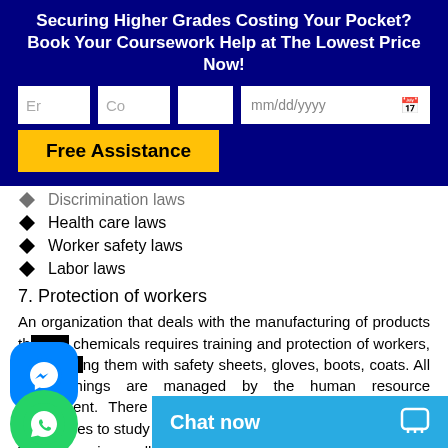Securing Higher Grades Costing Your Pocket? Book Your Coursework Help at The Lowest Price Now!
Discrimination laws
Health care laws
Worker safety laws
Labor laws
7. Protection of workers
An organization that deals with the manufacturing of products through chemicals requires training and protection of workers, by providing them with safety sheets, gloves, boots, coats. All these things are managed by the human resource department. There is a special course designed by the universities to study human resources in detail.
The course is usually of th